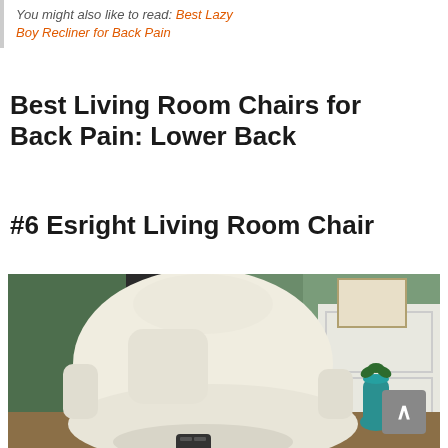You might also like to read: Best Lazy Boy Recliner for Back Pain
Best Living Room Chairs for Back Pain: Lower Back
#6 Esright Living Room Chair
[Figure (photo): A cream/off-white padded living room recliner chair with matching ottoman, set against a green wall with white wainscoting. A teal vase with small plant is visible in the background on the right.]